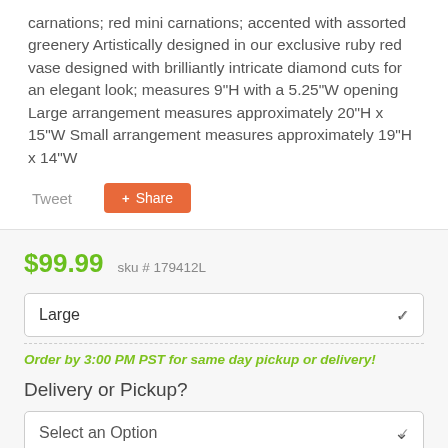carnations; red mini carnations; accented with assorted greenery Artistically designed in our exclusive ruby red vase designed with brilliantly intricate diamond cuts for an elegant look; measures 9"H with a 5.25"W opening Large arrangement measures approximately 20"H x 15"W Small arrangement measures approximately 19"H x 14"W
Tweet
Share
$99.99  sku # 179412L
Large
Order by 3:00 PM PST for same day pickup or delivery!
Delivery or Pickup?
Select an Option